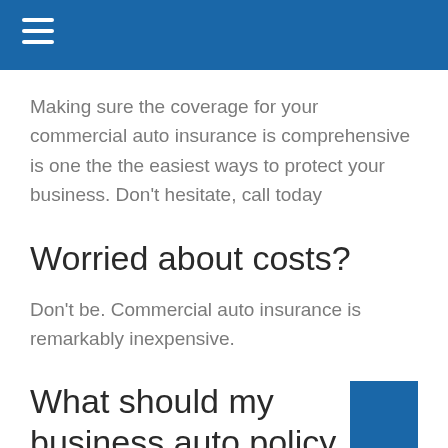Making sure the coverage for your commercial auto insurance is comprehensive is one the the easiest ways to protect your business. Don't hesitate, call today
Worried about costs?
Don't be. Commercial auto insurance is remarkably inexpensive.
What should my business auto policy cover?